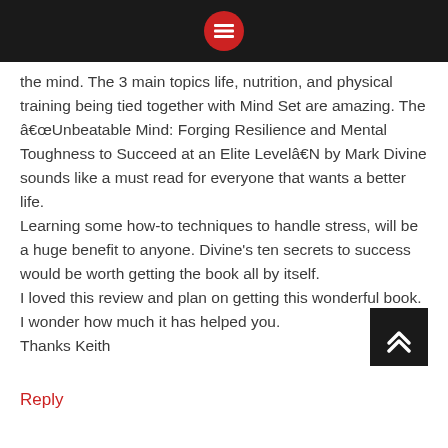Navigation menu header bar
the mind. The 3 main topics life, nutrition, and physical training being tied together with Mind Set are amazing. The â€œUnbeatable Mind: Forging Resilience and Mental Toughness to Succeed at an Elite Levelâ€Ÿ by Mark Divine sounds like a must read for everyone that wants a better life.
Learning some how-to techniques to handle stress, will be a huge benefit to anyone. Divine's ten secrets to success would be worth getting the book all by itself.
I loved this review and plan on getting this wonderful book.
I wonder how much it has helped you.
Thanks Keith
Reply